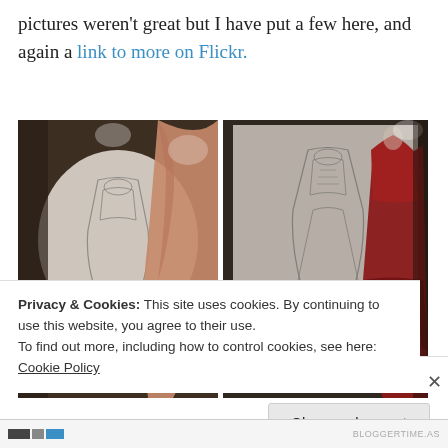pictures weren't great but I have put a few here, and again a link to more on Flickr.
[Figure (photo): Two side-by-side photographs of fashion/couture dresses displayed in a museum or gallery setting. Left photo shows a pale/salmon-colored dress with a sketch drawing behind it. Right photo shows a red/crimson elaborate gown with a back-bustled skirt beside a sketch drawing.]
Privacy & Cookies: This site uses cookies. By continuing to use this website, you agree to their use.
To find out more, including how to control cookies, see here: Cookie Policy